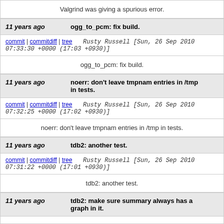Valgrind was giving a spurious error.
11 years ago   ogg_to_pcm: fix build.
commit | commitdiff | tree   Rusty Russell [Sun, 26 Sep 2010 07:33:30 +0000 (17:03 +0930)]
ogg_to_pcm: fix build.
11 years ago   noerr: don't leave tmpnam entries in /tmp in tests.
commit | commitdiff | tree   Rusty Russell [Sun, 26 Sep 2010 07:32:25 +0000 (17:02 +0930)]
noerr: don't leave tmpnam entries in /tmp in tests.
11 years ago   tdb2: another test.
commit | commitdiff | tree   Rusty Russell [Sun, 26 Sep 2010 07:31:22 +0000 (17:01 +0930)]
tdb2: another test.
11 years ago   tdb2: make sure summary always has a graph in it.